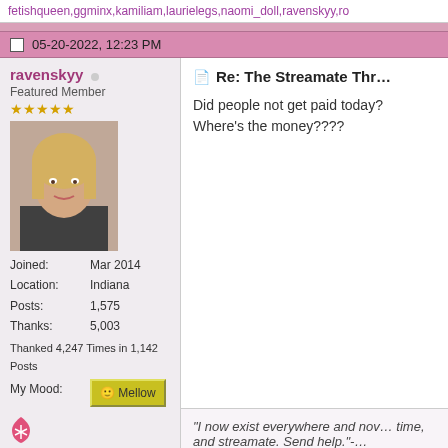fetishqueen,ggminx,kamiliam,laurielegs,naomi_doll,ravenskyy,ro...
05-20-2022, 12:23 PM
ravenskyy
Featured Member
Joined: Mar 2014
Location: Indiana
Posts: 1,575
Thanks: 5,003
Thanked 4,247 Times in 1,142 Posts
My Mood: Mellow
Re: The Streamate Thr...
Did people not get paid today? Where's the money????
"I now exist everywhere and no... time, and streamate. Send help."-...